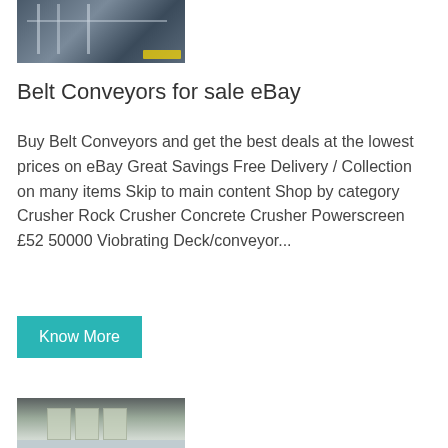[Figure (photo): Industrial conveyor/crusher machinery with scaffolding structure, outdoor setting]
Belt Conveyors for sale eBay
Buy Belt Conveyors and get the best deals at the lowest prices on eBay Great Savings Free Delivery / Collection on many items Skip to main content Shop by category Crusher Rock Crusher Concrete Crusher Powerscreen £52 50000 Viobrating Deck/conveyor...
[Figure (photo): Industrial silos or tanks inside a warehouse building with workers visible]